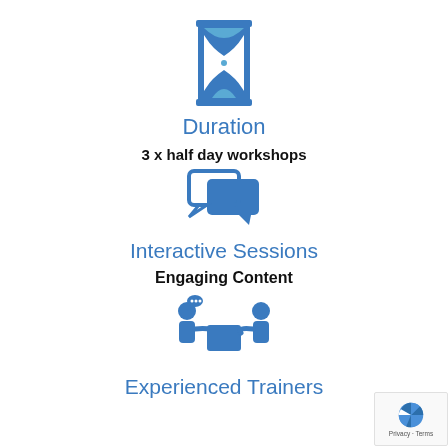[Figure (illustration): Blue hourglass icon]
Duration
3 x half day workshops
[Figure (illustration): Blue speech bubbles / chat icon representing interactive sessions]
Interactive Sessions
Engaging Content
[Figure (illustration): Blue icon of two people collaborating/sharing]
Experienced Trainers